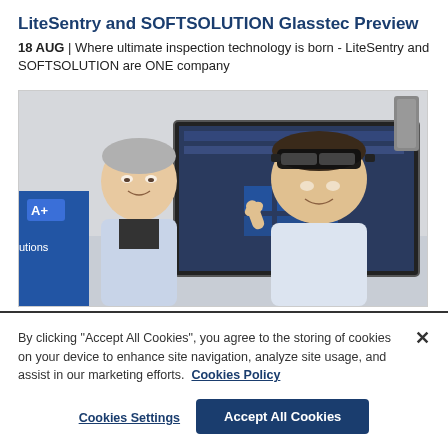LiteSentry and SOFTSOLUTION Glasstec Preview
18 AUG | Where ultimate inspection technology is born - LiteSentry and SOFTSOLUTION are ONE company
[Figure (photo): Two men in a room, one wearing an AR/VR headset, standing in front of a large monitor displaying software. A blue banner with 'A+' logo and 'utions' text is visible on the left.]
By clicking "Accept All Cookies", you agree to the storing of cookies on your device to enhance site navigation, analyze site usage, and assist in our marketing efforts.  Cookies Policy
Cookies Settings
Accept All Cookies